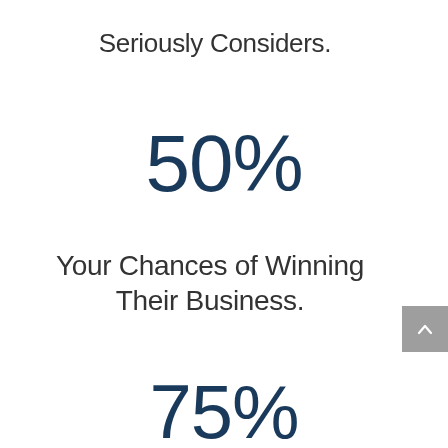Seriously Considers.
50%
Your Chances of Winning Their Business.
75%